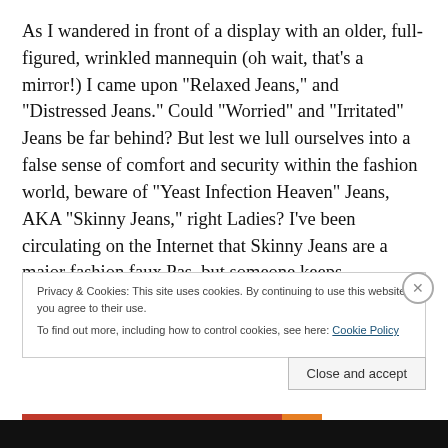As I wandered in front of a display with an older, full-figured, wrinkled mannequin (oh wait, that’s a mirror!) I came upon “Relaxed Jeans,” and “Distressed Jeans.” Could “Worried” and “Irritated” Jeans be far behind? But lest we lull ourselves into a false sense of comfort and security within the fashion world, beware of “Yeast Infection Heaven” Jeans, AKA “Skinny Jeans,” right Ladies? I’ve been circulating on the Internet that Skinny Jeans are a major fashion faux Pas, but someone keeps
Privacy & Cookies: This site uses cookies. By continuing to use this website, you agree to their use.
To find out more, including how to control cookies, see here: Cookie Policy
Close and accept